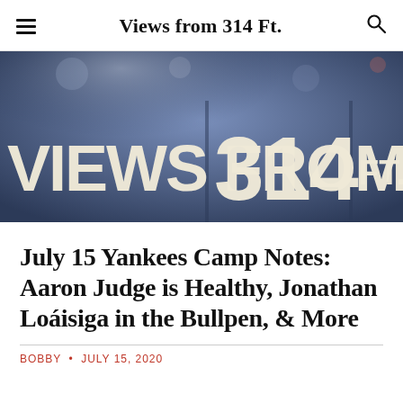Views from 314 Ft.
[Figure (photo): Photo of a blue wall or scoreboard with large cream/white lettering reading 'VIEWS FROM 314 FT.' in bold block letters, slightly blurred background with bokeh effect.]
July 15 Yankees Camp Notes: Aaron Judge is Healthy, Jonathan Loáisiga in the Bullpen, & More
BOBBY  •  JULY 15, 2020